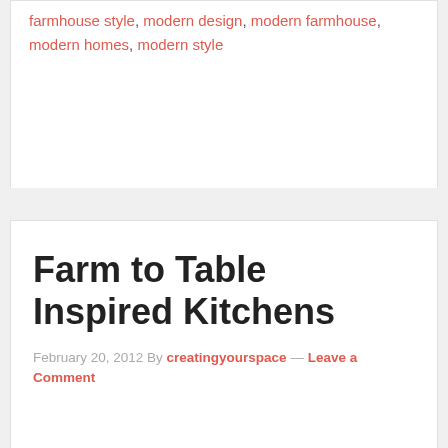farmhouse style, modern design, modern farmhouse, modern homes, modern style
Farm to Table Inspired Kitchens
February 20, 2012 By creatingyourspace — Leave a Comment
[Figure (photo): Placeholder image for Farm to Table Inspired Kitchens article]